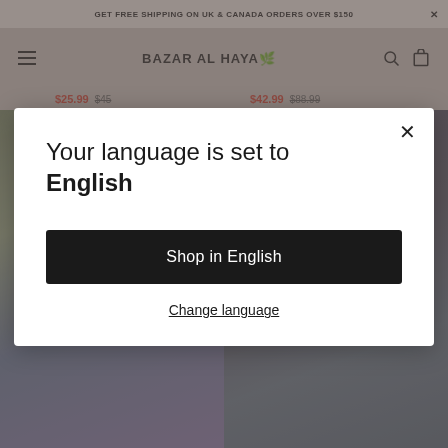GET FREE SHIPPING ON UK & CANADA ORDERS OVER $150 ✕
BAZAR AL HAYA
$25.99  $45    $42.99  $88.99
[Figure (screenshot): Two product images showing floral dresses/garments against a hydrangea flower background]
Your language is set to English
Shop in English
Change language